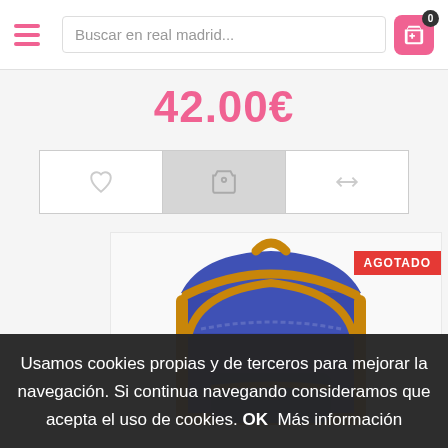Buscar en real madrid...
42.00€
[Figure (screenshot): E-commerce product page showing a blue backpack with brown trim, price 42.00€, action buttons (wishlist, add to cart, compare), AGOTADO (out of stock) badge, and a cookie consent banner at the bottom.]
AGOTADO
Usamos cookies propias y de terceros para mejorar la navegación. Si continua navegando consideramos que acepta el uso de cookies. OK  Más información